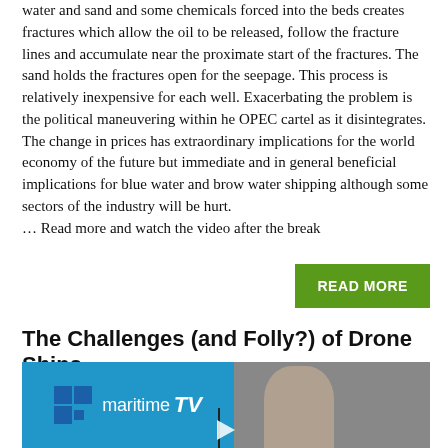water and sand and some chemicals forced into the beds creates fractures which allow the oil to be released, follow the fracture lines and accumulate near the proximate start of the fractures. The sand holds the fractures open for the seepage. This process is relatively inexpensive for each well. Exacerbating the problem is the political maneuvering within he OPEC cartel as it disintegrates.  The change in prices has extraordinary implications for the world economy of the future but immediate and in general beneficial implications for blue water and brow water shipping although some sectors of the industry will be hurt.
… Read more and watch the video after the break
READ MORE
The Challenges (and Folly?) of Drone Ships
[Figure (screenshot): Video thumbnail showing maritime TV logo on blue background on left side and a bald man on grey background on right side, with a play button at the bottom center]